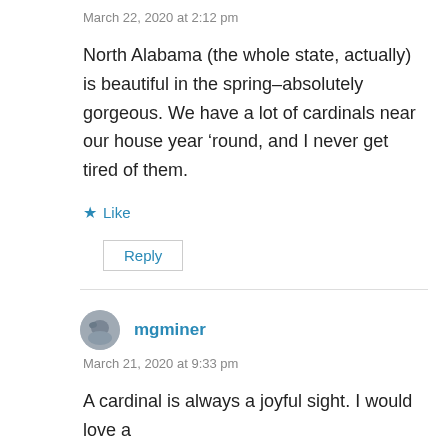March 22, 2020 at 2:12 pm
North Alabama (the whole state, actually) is beautiful in the spring–absolutely gorgeous. We have a lot of cardinals near our house year ‘round, and I never get tired of them.
★ Like
Reply
mgminer
March 21, 2020 at 9:33 pm
A cardinal is always a joyful sight. I would love a